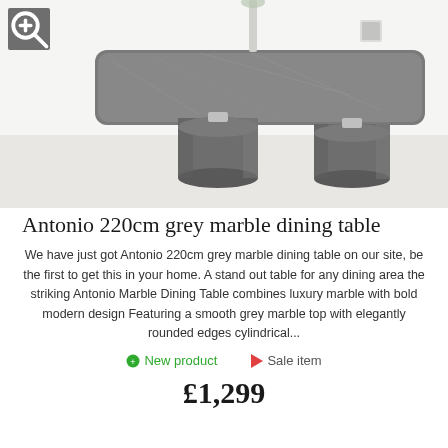[Figure (photo): Product photo of the Antonio 220cm grey marble dining table with cylindrical stone bases and a grey marble rectangular top, shown in a bright white interior setting.]
Antonio 220cm grey marble dining table
We have just got Antonio 220cm grey marble dining table on our site, be the first to get this in your home. A stand out table for any dining area the striking Antonio Marble Dining Table combines luxury marble with bold modern design Featuring a smooth grey marble top with elegantly rounded edges cylindrical...
New product   Sale item
£1,299